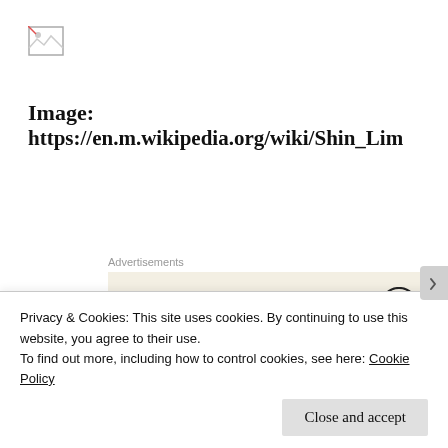[Figure (illustration): Broken image icon placeholder in top-left corner]
Image:
https://en.m.wikipedia.org/wiki/Shin_Lim
Advertisements
[Figure (illustration): Advertisement box with text 'Professionally designed sites in less than a week' and WordPress logo]
Shin Lim to highlight of h...
Privacy & Cookies: This site uses cookies. By continuing to use this website, you agree to their use.
To find out more, including how to control cookies, see here: Cookie Policy
Close and accept